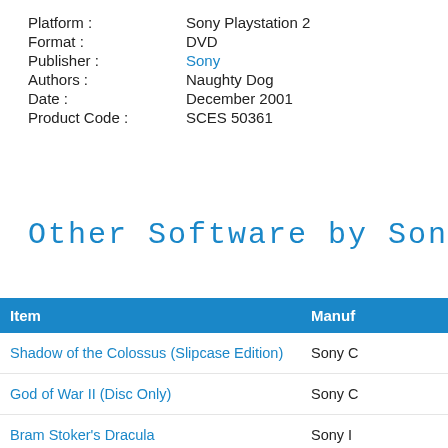Platform : Sony Playstation 2
Format : DVD
Publisher : Sony
Authors : Naughty Dog
Date : December 2001
Product Code : SCES 50361
Other Software by Sony:
| Item | Manuf… |
| --- | --- |
| Shadow of the Colossus (Slipcase Edition) | Sony C… |
| God of War II (Disc Only) | Sony C… |
| Bram Stoker's Dracula | Sony I… |
| Playstation 2 Demo Disc PBPX-95506 | Sony C… |